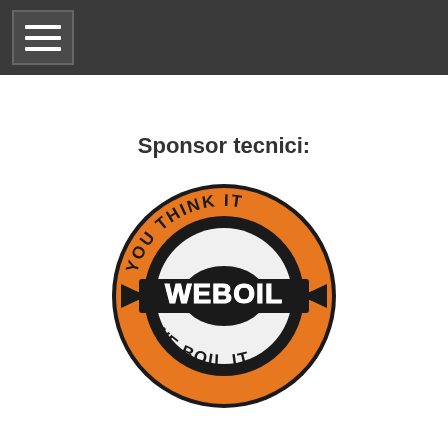Sponsor tecnici:
[Figure (logo): Weboil logo: circular orange badge with black border, text 'YOU THINK IT' on top arc and 'WE BOIL IT' on bottom arc, with a black banner across center reading 'WEBOIL' in white bold letters with outlined O.]